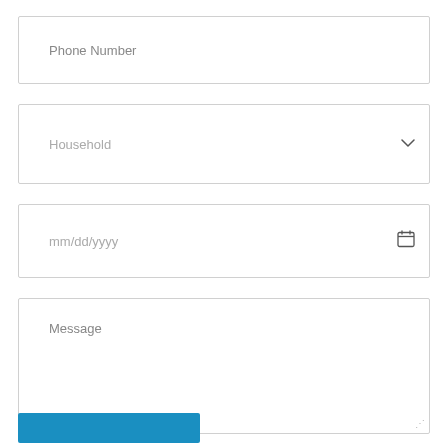Phone Number
Household
mm/dd/yyyy
Message